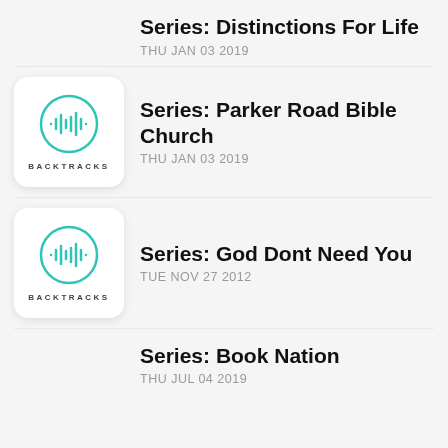Series: Distinctions For Life
THU JAN 03 2019
[Figure (logo): Backtracks logo: teal waveform inside a circle, text BACKTRACKS below]
Series: Parker Road Bible Church
THU JAN 03 2019
[Figure (logo): Backtracks logo: teal waveform inside a circle, text BACKTRACKS below]
Series: God Dont Need You
TUE NOV 27 2012
Series: Book Nation
THU JUL 04 2019